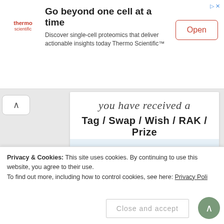[Figure (screenshot): Thermo Scientific advertisement banner with logo, headline 'Go beyond one cell at a time', body text about single-cell proteomics, and an 'Open' button]
you have received a
Tag / Swap / Wish / RAK / Prize
Group: _______________
From: _______________
For: _______________
Privacy & Cookies: This site uses cookies. By continuing to use this website, you agree to their use.
To find out more, including how to control cookies, see here: Privacy Policy
Close and accept